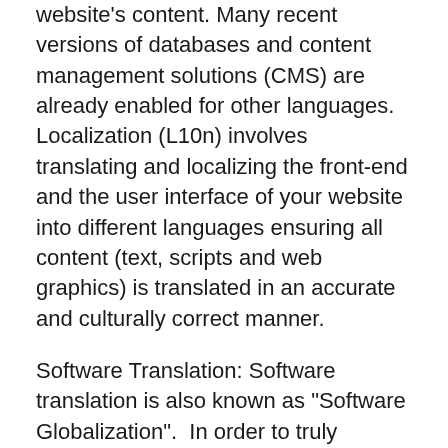website's content. Many recent versions of databases and content management solutions (CMS) are already enabled for other languages. Localization (L10n) involves translating and localizing the front-end and the user interface of your website into different languages ensuring all content (text, scripts and web graphics) is translated in an accurate and culturally correct manner.
Software Translation: Software translation is also known as "Software Globalization".  In order to truly "translate" software into other languages you may need both Internationalization (I18n) and Localization (L10n) services.
Internationalization (I18n) + Localization (L10n) = Software Globalization.
Internationalization (I18n) involves enabling the code base of an application to support different languages, character sets, time, date and numerical formats, etc... and involves understanding diverse cultural and technical platform and